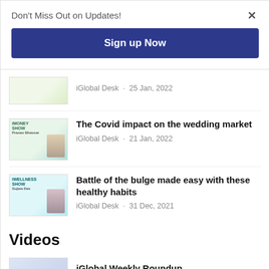Don't Miss Out on Updates!
×
Sign up Now
[Figure (photo): Partially visible article thumbnail]
iGlobal Desk · 25 Jan, 2022
[Figure (photo): iMoney show thumbnail with person]
The Covid impact on the wedding market
iGlobal Desk · 21 Jan, 2022
[Figure (photo): iWellness show thumbnail with person]
Battle of the bulge made easy with these healthy habits
iGlobal Desk · 31 Dec, 2021
Videos
[Figure (photo): iGlobal Weekly Roundup video thumbnail]
iGlobal Weekly Roundup